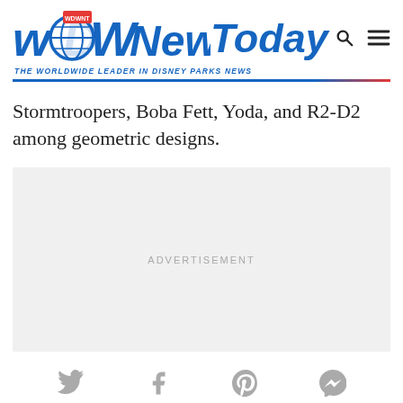WDW News Today — THE WORLDWIDE LEADER IN DISNEY PARKS NEWS
Stormtroopers, Boba Fett, Yoda, and R2-D2 among geometric designs.
[Figure (other): Advertisement placeholder box with light gray background and centered 'ADVERTISEMENT' text]
[Figure (other): Social share icons bar: Twitter, Facebook, Pinterest, Messenger]